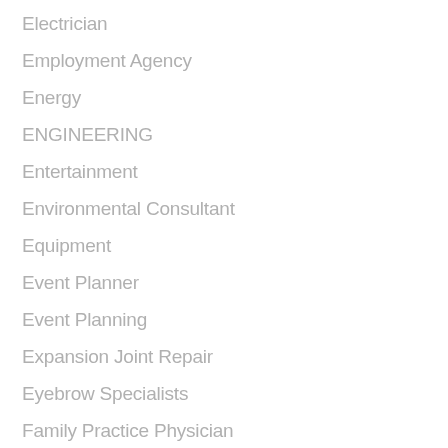Electrician
Employment Agency
Energy
ENGINEERING
Entertainment
Environmental Consultant
Equipment
Event Planner
Event Planning
Expansion Joint Repair
Eyebrow Specialists
Family Practice Physician
Farm equipment supplier
Farming
Fencing